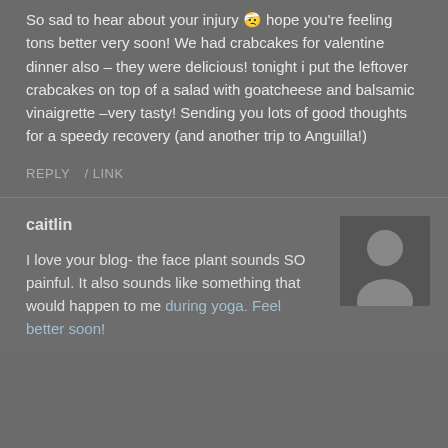So sad to hear about your injury 🤕 hope you're feeling tons better very soon! We had crabcakes for valentine dinner also – they were delicious! tonight i put the leftover crabcakes on top of a salad with goatcheese and balsamic vinaigrette –very tasty! Sending you lots of good thoughts for a speedy recovery (and another trip to Anguilla!)
REPLY   LINK
caitlin
I love your blog- the face plant sounds SO painful. It also sounds like something that would happen to me during yoga. Feel better soon!